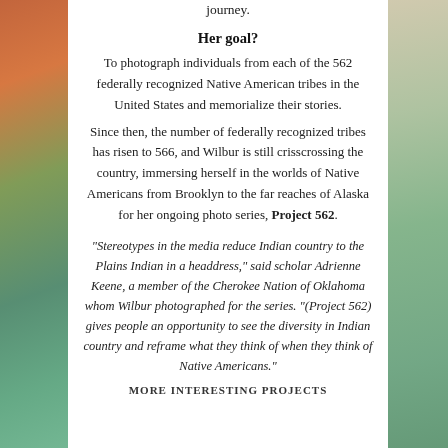journey.
Her goal?
To photograph individuals from each of the 562 federally recognized Native American tribes in the United States and memorialize their stories.
Since then, the number of federally recognized tribes has risen to 566, and Wilbur is still crisscrossing the country, immersing herself in the worlds of Native Americans from Brooklyn to the far reaches of Alaska for her ongoing photo series, Project 562.
“Stereotypes in the media reduce Indian country to the Plains Indian in a headdress,” said scholar Adrienne Keene, a member of the Cherokee Nation of Oklahoma whom Wilbur photographed for the series. “(Project 562) gives people an opportunity to see the diversity in Indian country and reframe what they think of when they think of Native Americans.”
MORE INTERESTING PROJECTS